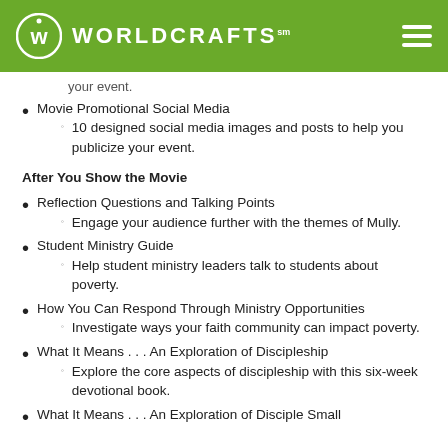WORLDCRAFTS
your event.
Movie Promotional Social Media
10 designed social media images and posts to help you publicize your event.
After You Show the Movie
Reflection Questions and Talking Points
Engage your audience further with the themes of Mully.
Student Ministry Guide
Help student ministry leaders talk to students about poverty.
How You Can Respond Through Ministry Opportunities
Investigate ways your faith community can impact poverty.
What It Means . . . An Exploration of Discipleship
Explore the core aspects of discipleship with this six-week devotional book.
What It Means . . . An Exploration of Disciple Small